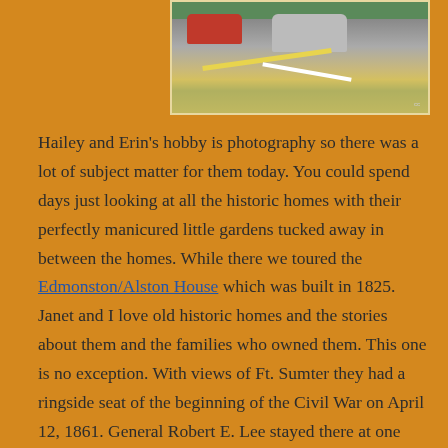[Figure (photo): A street scene showing parked cars on a road with yellow and white road markings, bordered by a light-colored frame on an orange background.]
Hailey and Erin's hobby is photography so there was a lot of subject matter for them today. You could spend days just looking at all the historic homes with their perfectly manicured little gardens tucked away in between the homes. While there we toured the Edmonston/Alston House which was built in 1825. Janet and I love old historic homes and the stories about them and the families who owned them. This one is no exception. With views of Ft. Sumter they had a ringside seat of the beginning of the Civil War on April 12, 1861. General Robert E. Lee stayed there at one time during the war.